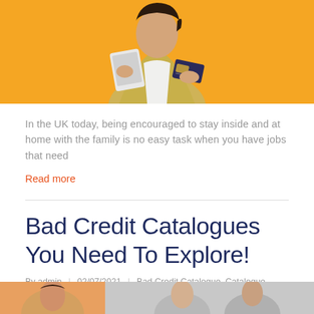[Figure (photo): Woman on yellow/orange background holding a tablet and a credit card]
In the UK today, being encouraged to stay inside and at home with the family is no easy task when you have jobs that need
Read more
Bad Credit Catalogues You Need To Explore!
By admin | 02/07/2021 | Bad Credit Catalogue, Catalogue, Catalogue Credit
[Figure (photo): Partial bottom image, cropped]